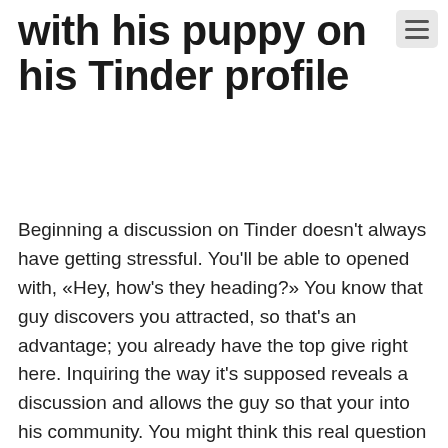with his puppy on his Tinder profile
Beginning a discussion on Tinder doesn't always have getting stressful. You'll be able to opened with, «Hey, how's they heading?» You know that guy discovers you attracted, so that's an advantage; you already have the top give right here. Inquiring the way it's supposed reveals a discussion and allows the guy so that your into his community. You might think this real question is as well obscure, that is certainly fair. Check out much more particular suggestions to guide you to starting a dialogue with a man which finds you attractive on Tinder.
Any time you look at the man's profile along with his photographs, you can find one thing to supplement him on. It gives you you an opening to reward your on being a pet person, and it's really an icebreaker, also. If the guy seems to